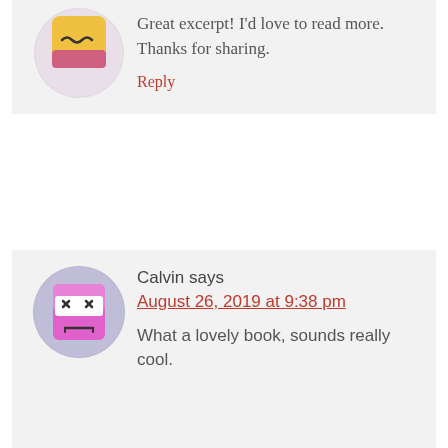[Figure (illustration): Cartoon avatar of a yellow/pink character with wavy expression, partially visible at top]
Great excerpt! I'd love to read more. Thanks for sharing.
Reply
[Figure (illustration): Cartoon avatar of a pink cube character with X eyes and grumpy mouth, inside a light purple circle]
Calvin says
August 26, 2019 at 9:38 pm
What a lovely book, sounds really cool.